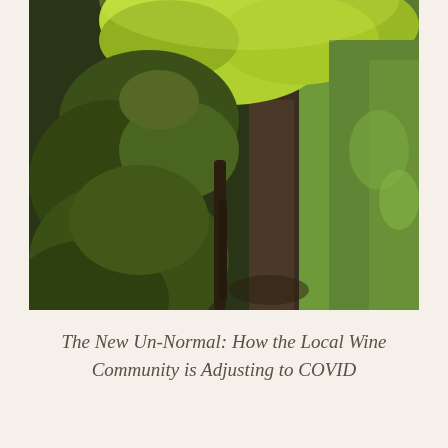[Figure (photo): Close-up photograph of a vineyard row with bright green grapevine leaves illuminated by sunlight in the upper portion, dark green foliage filling the left side, and a path between rows of vines with green grass on the right side and soil visible. The background shows more vineyard rows receding into the distance.]
The New Un-Normal: How the Local Wine Community is Adjusting to COVID